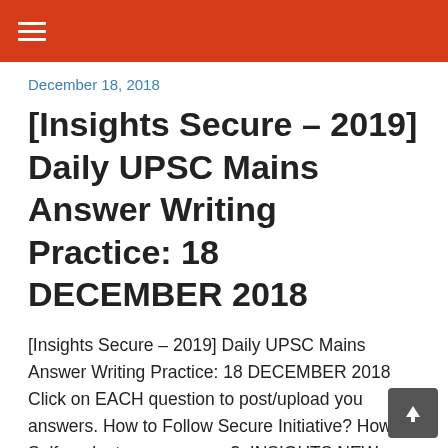≡ (hamburger menu)
December 18, 2018
[Insights Secure – 2019] Daily UPSC Mains Answer Writing Practice: 18 DECEMBER 2018
[Insights Secure – 2019] Daily UPSC Mains Answer Writing Practice: 18 DECEMBER 2018 Click on EACH question to post/upload you answers. How to Follow Secure Initiative? How to Self-evaluate your answer?  INSIGHTS NEW SECURE – 2019: YEARLONG TIMETABLE   Tomorrow's Static Topic: Conservation, environmental pollution and degradation, environmental impact assessment. General Studies – 2 Topic: Mechanisms, laws